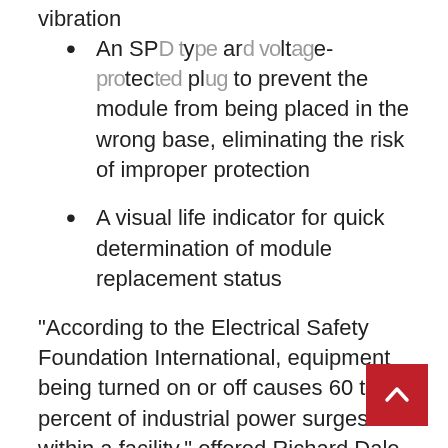vibration
An SPD type and voltage-protected plug to prevent the module from being placed in the wrong base, eliminating the risk of improper protection
A visual life indicator for quick determination of module replacement status
“According to the Electrical Safety Foundation International, equipment being turned on or off causes 60 to 80 percent of industrial power surges within a facility,” offered Richard Dale, Product Manager, Littelfuse Industrial Business Unit. “These disruptive, everyday